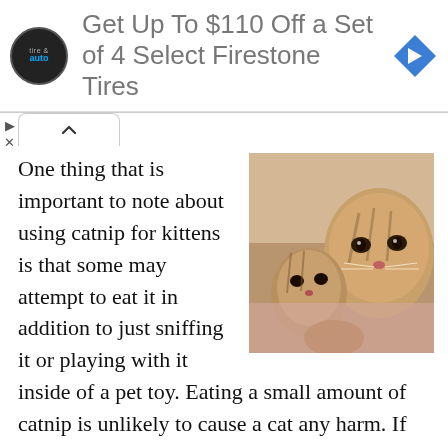[Figure (other): Advertisement banner: tire & auto logo with text 'Get Up To $110 Off a Set of 4 Select Firestone Tires' and a blue navigation arrow icon on the right]
[Figure (photo): Close-up photo of a mother cat with a small kitten, both tabby cats with striped fur]
One thing that is important to note about using catnip for kittens is that some may attempt to eat it in addition to just sniffing it or playing with it inside of a pet toy. Eating a small amount of catnip is unlikely to cause a cat any harm. If the cat eats it in extremely large amounts, however, he may vomit or develop diarrhea. Still, it is unlikely to cause any serious or lasting effects when it is